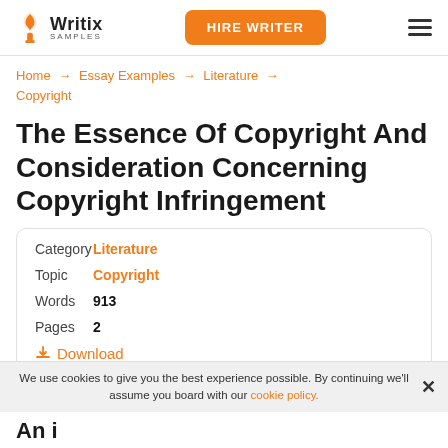Writix SAMPLES | HIRE WRITER
Home → Essay Examples → Literature → Copyright
The Essence Of Copyright And Consideration Concerning Copyright Infringement
| Field | Value |
| --- | --- |
| Category | Literature |
| Topic | Copyright |
| Words | 913 |
| Pages | 2 |
|  | Download |
We use cookies to give you the best experience possible. By continuing we'll assume you board with our cookie policy. ✕
An i